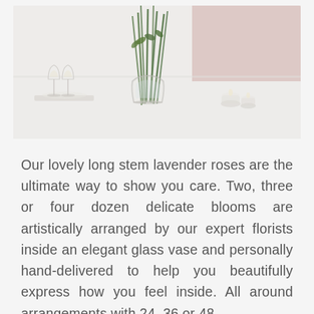[Figure (photo): Photo of flower arrangement: a clear glass vase with long-stem roses and green stems on a white table, with two champagne glasses on a tray to the left, and small tea light candles to the right. Pink wall visible in background.]
Our lovely long stem lavender roses are the ultimate way to show you care. Two, three or four dozen delicate blooms are artistically arranged by our expert florists inside an elegant glass vase and personally hand-delivered to help you beautifully express how you feel inside. All around arrangements with 24, 36 or 48